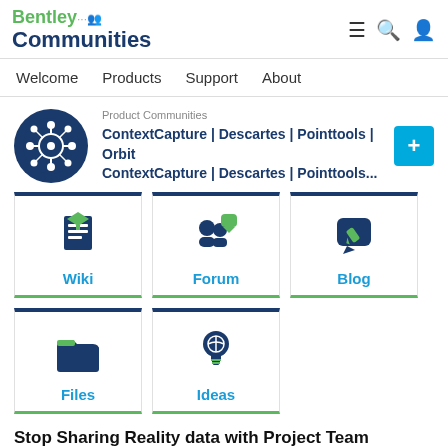Bentley Communities
Welcome | Products | Support | About
Product Communities
ContextCapture | Descartes | Pointtools | Orbit
ContextCapture | Descartes | Pointtools...
[Figure (infographic): Grid of community section icons: Wiki, Forum, Blog, Files, Ideas]
Stop Sharing Reality data with Project Team